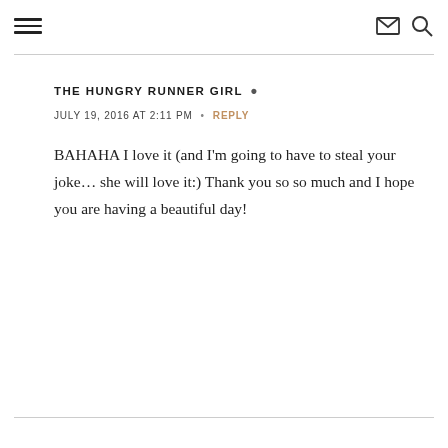≡  ✉ 🔍
THE HUNGRY RUNNER GIRL  •
JULY 19, 2016 AT 2:11 PM  •  REPLY
BAHAHA I love it (and I'm going to have to steal your joke… she will love it:) Thank you so so much and I hope you are having a beautiful day!